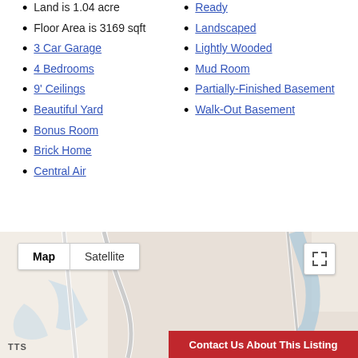Land is 1.04 acre
Floor Area is 3169 sqft
3 Car Garage
4 Bedrooms
9' Ceilings
Beautiful Yard
Bonus Room
Brick Home
Central Air
Ready
Landscaped
Lightly Wooded
Mud Room
Partially-Finished Basement
Walk-Out Basement
[Figure (map): Google Map view showing a road area with Map/Satellite toggle buttons and a fullscreen expand button. A red banner at the bottom right reads 'Contact Us About This Listing'.]